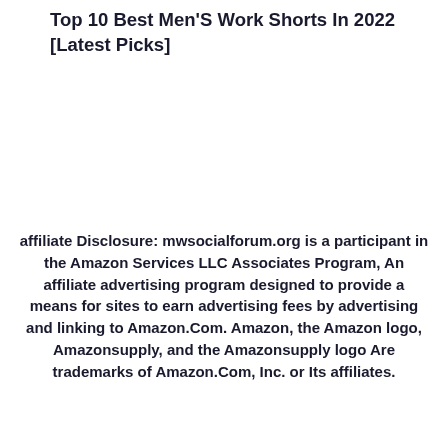Top 10 Best Men'S Work Shorts In 2022 [Latest Picks]
affiliate Disclosure: mwsocialforum.org is a participant in the Amazon Services LLC Associates Program, An affiliate advertising program designed to provide a means for sites to earn advertising fees by advertising and linking to Amazon.Com. Amazon, the Amazon logo, Amazonsupply, and the Amazonsupply logo Are trademarks of Amazon.Com, Inc. or Its affiliates.